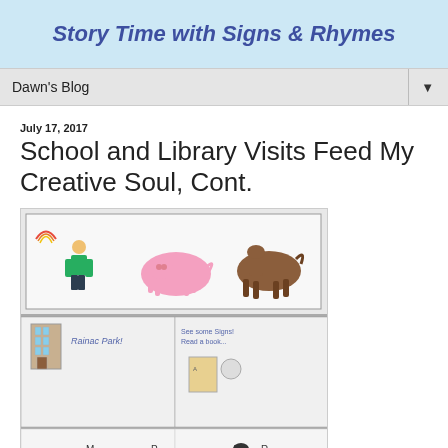Story Time with Signs & Rhymes
Dawn's Blog
July 17, 2017
School and Library Visits Feed My Creative Soul, Cont.
[Figure (photo): Children's hand-drawn storyboard artwork showing colorful drawings of animals (a pink pig, brown horse/donkey, person in green) in the top panel, and scenes with text 'Rainac Park!' and 'See some signs! Read a book...' in the bottom panels, with additional partial panels at the bottom.]